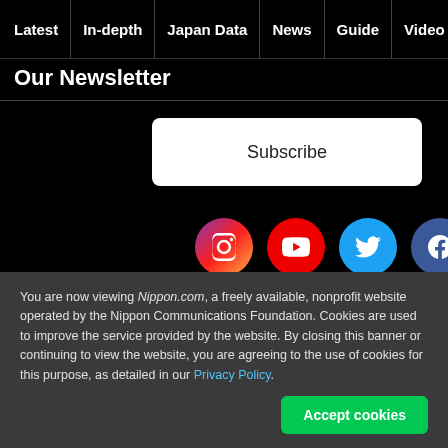Latest | In-depth | Japan Data | News | Guide | Video
Our Newsletter
Subscribe
[Figure (illustration): Social media icons row: Instagram, YouTube, Twitter, Facebook, RSS]
You are now viewing Nippon.com, a freely available, nonprofit website operated by the Nippon Communications Foundation. Cookies are used to improve the service provided by the website. By closing this banner or continuing to view the website, you are agreeing to the use of cookies for this purpose, as detailed in our Privacy Policy.
Accept cookies